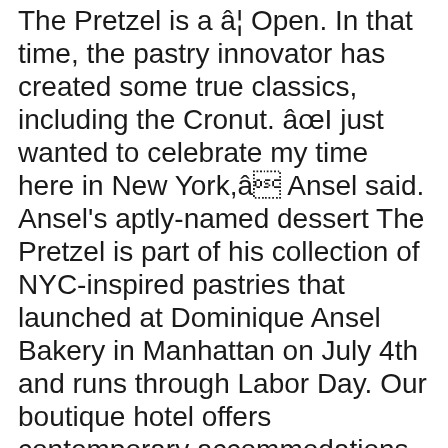The Pretzel is a â€¦ Open. In that time, the pastry innovator has created some true classics, including the Cronut. â€œI just wanted to celebrate my time here in New York,â€ Ansel said. Ansel's aptly-named dessert The Pretzel is part of his collection of NYC-inspired pastries that launched at Dominique Ansel Bakery in Manhattan on July 4th and runs through Labor Day. Our boutique hotel offers contemporary accommodations and easy access to some of Manhattan's most popular attractions. Order takeaway and delivery at Dominique Ansel Bakery, New York City with Tripadvisor: See 1,418 unbiased reviews of Dominique Ansel Bakery, ranked #577 on Tripadvisor among 13,012 restaurants in New York City. I saw the Dominique Ansel class on Masterclass and wanted to try the food before watching the class. Weâ€™re currently offering take-out as well sa delivery via Caviar & DoorDash) at Dominique Ansel Bakery on Spring Street, plus outdoor garden seating and limited indoor socially-distanced seating.Our current Soho NYC â€¦ Hong Kong capsule collection by Dominique Ansel The name â€œDang Wen Liâ€ is said to â€œDominique â€ in Cantonese...